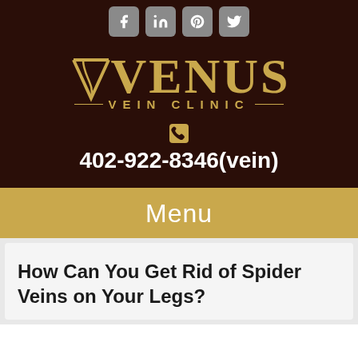[Figure (logo): Social media icons: Facebook, LinkedIn, Pinterest, Twitter in gray rounded square buttons]
[Figure (logo): Venus Vein Clinic logo in gold on dark brown background with decorative arrow/wing motif]
402-922-8346(vein)
Menu
How Can You Get Rid of Spider Veins on Your Legs?